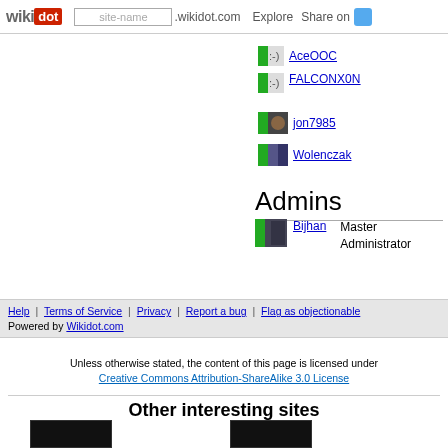wikidot | site-name .wikidot.com | Explore | Share on Twitter
AceOOC
FALCONX0N
jon7985
Wolenczak
Admins
Bijhan — Master Administrator
Help | Terms of Service | Privacy | Report a bug | Flag as objectionable | Powered by Wikidot.com
Unless otherwise stated, the content of this page is licensed under Creative Commons Attribution-ShareAlike 3.0 License
Other interesting sites